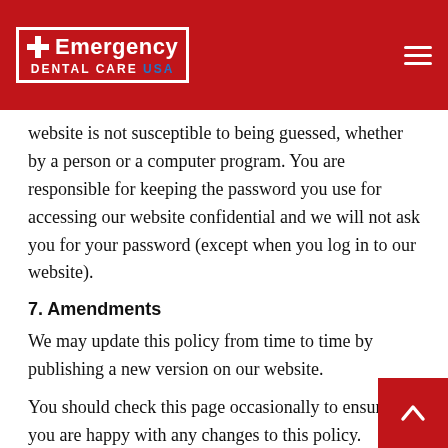Emergency Dental Care USA
website is not susceptible to being guessed, whether by a person or a computer program. You are responsible for keeping the password you use for accessing our website confidential and we will not ask you for your password (except when you log in to our website).
7. Amendments
We may update this policy from time to time by publishing a new version on our website.
You should check this page occasionally to ensure you are happy with any changes to this policy.
8. Your rights
In this Section 8, we have summarised the rights that have under data protection law. Some of the rights are